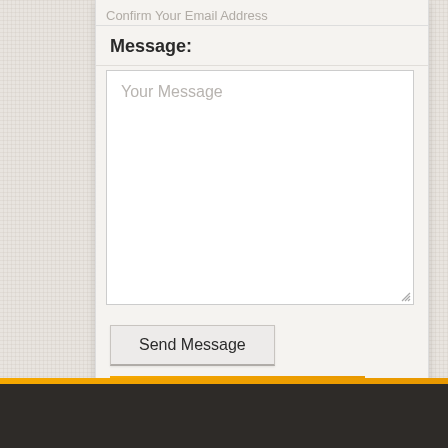Confirm Your Email Address
Message:
Your Message
Send Message